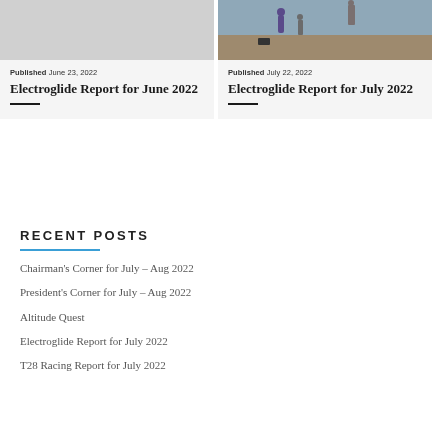[Figure (photo): Gray placeholder image for Electroglide Report for June 2022 card]
Published June 23, 2022
Electroglide Report for June 2022
[Figure (photo): Outdoor photo of person in purple shirt holding RC controller on a field]
Published July 22, 2022
Electroglide Report for July 2022
RECENT POSTS
Chairman's Corner for July – Aug 2022
President's Corner for July – Aug 2022
Altitude Quest
Electroglide Report for July 2022
T28 Racing Report for July 2022